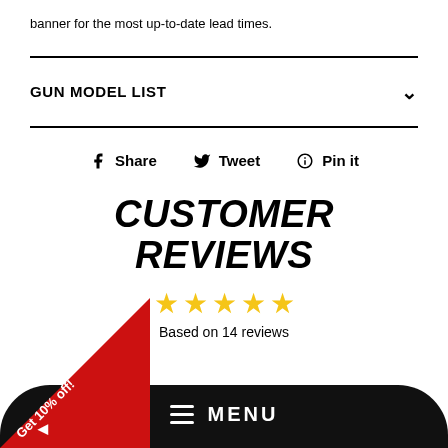banner for the most up-to-date lead times.
GUN MODEL LIST
Share  Tweet  Pin it
CUSTOMER REVIEWS
[Figure (other): 5 yellow stars rating]
Based on 14 reviews
MENU
[Figure (other): Red corner ribbon with 'Get 10% off!' text and left arrow]